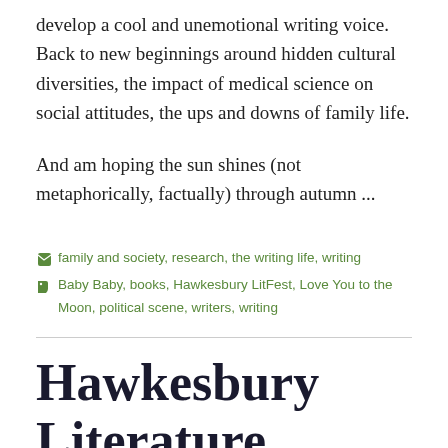develop a cool and unemotional writing voice. Back to new beginnings around hidden cultural diversities, the impact of medical science on social attitudes, the ups and downs of family life.
And am hoping the sun shines (not metaphorically, factually) through autumn ...
Categories: family and society, research, the writing life, writing
Tags: Baby Baby, books, Hawkesbury LitFest, Love You to the Moon, political scene, writers, writing
Hawkesbury Literature Festival Two!